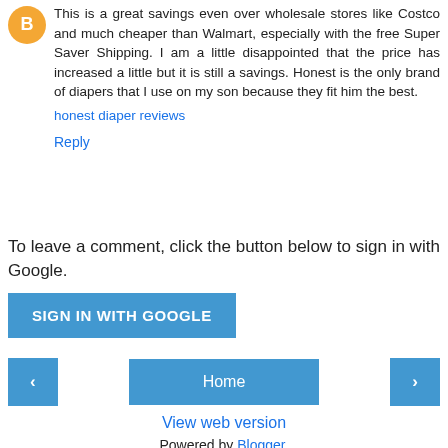This is a great savings even over wholesale stores like Costco and much cheaper than Walmart, especially with the free Super Saver Shipping. I am a little disappointed that the price has increased a little but it is still a savings. Honest is the only brand of diapers that I use on my son because they fit him the best.
honest diaper reviews
Reply
To leave a comment, click the button below to sign in with Google.
SIGN IN WITH GOOGLE
Home
View web version
Powered by Blogger.